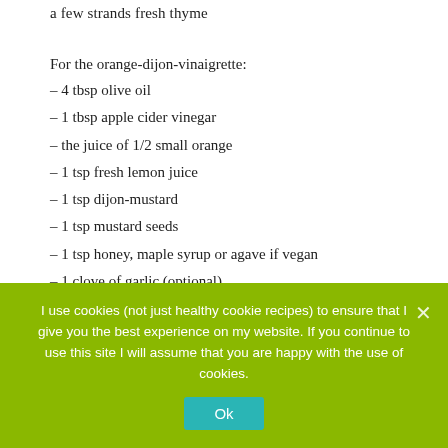a few strands fresh thyme
For the orange-dijon-vinaigrette:
– 4 tbsp olive oil
– 1 tbsp apple cider vinegar
– the juice of 1/2 small orange
– 1 tsp fresh lemon juice
– 1 tsp dijon-mustard
– 1 tsp mustard seeds
– 1 tsp honey, maple syrup or agave if vegan
– 1 clove of garlic (optional)
– salt & pepper
I use cookies (not just healthy cookie recipes) to ensure that I give you the best experience on my website. If you continue to use this site I will assume that you are happy with the use of cookies.